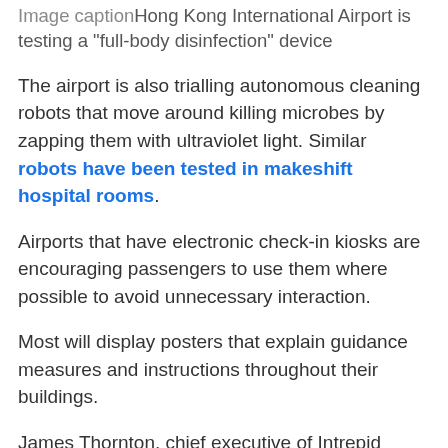Image captionHong Kong International Airport is testing a “full-body disinfection” device
The airport is also trialling autonomous cleaning robots that move around killing microbes by zapping them with ultraviolet light. Similar robots have been tested in makeshift hospital rooms.
Airports that have electronic check-in kiosks are encouraging passengers to use them where possible to avoid unnecessary interaction.
Most will display posters that explain guidance measures and instructions throughout their buildings.
James Thornton, chief executive of Intrepid travel group, says the process of passing through airports is likely to take longer because of stricter checks.
“Just as taking out liquids and devices before going through machines has become the norm, so too will